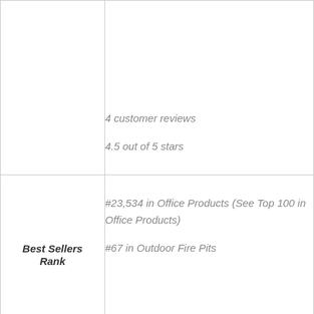4 customer reviews
4.5 out of 5 stars
|  |  |
| --- | --- |
|  | 4 customer reviews
4.5 out of 5 stars |
| Best Sellers Rank | #23,534 in Office Products (See Top 100 in Office Products)
#67 in Outdoor Fire Pits |
| Shipping | 70 pounds (View shipping rates and |